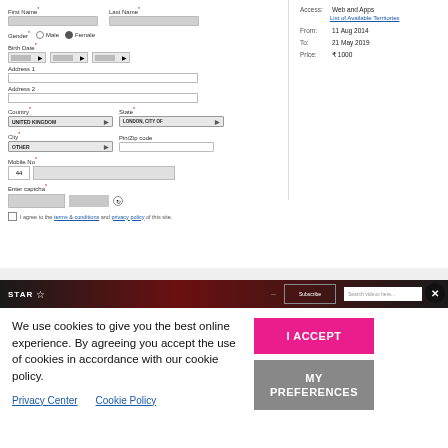[Figure (screenshot): Web form with fields: First Name, Last Name, Gender (Male/Female radio), Birth Date dropdowns, Address 1, Address 2, Country (UNITED KINGDOM), State (LONDON, CITY OF), City (OTHER), Pin/Zip code, Mobile No (44 prefix), Enter captcha fields, and agree checkbox with terms & conditions and privacy policy links. Right panel shows: Access: Web and Apps, List of Available Territories, From: 11 Aug 2014, To: 21 May 2019, Price: ₹ 1000]
[Figure (screenshot): Cookie consent banner over Star website. Text: 'We use cookies to give you the best online experience. By agreeing you accept the use of cookies in accordance with our cookie policy.' Links: Privacy Center, Cookie Policy. Buttons: I ACCEPT (pink), MY PREFERENCES (gray). Close button (X) in top right corner. Star logo bar at top.]